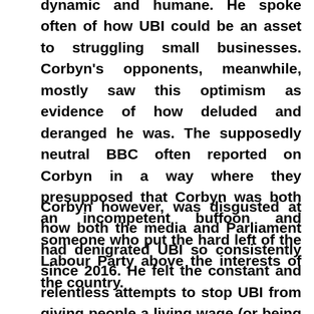dynamic and humane. He spoke often of how UBI could be an asset to struggling small businesses. Corbyn's opponents, meanwhile, mostly saw this optimism as evidence of how deluded and deranged he was. The supposedly neutral BBC often reported on Corbyn in a way where they presupposed that Corbyn was both an incompetent buffoon and someone who put the hard left of the Labour Party above the interests of the country.
Corbyn however, was disgusted at how both the media and Parliament had denigrated UBI so consistently since 2016. He felt the constant and relentless attempts to stop UBI from giving people a living wage (or being implemented at all) was